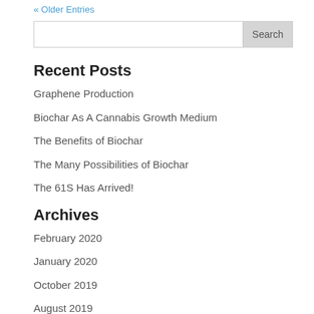« Older Entries
Search
Recent Posts
Graphene Production
Biochar As A Cannabis Growth Medium
The Benefits of Biochar
The Many Possibilities of Biochar
The 61S Has Arrived!
Archives
February 2020
January 2020
October 2019
August 2019
September 2017